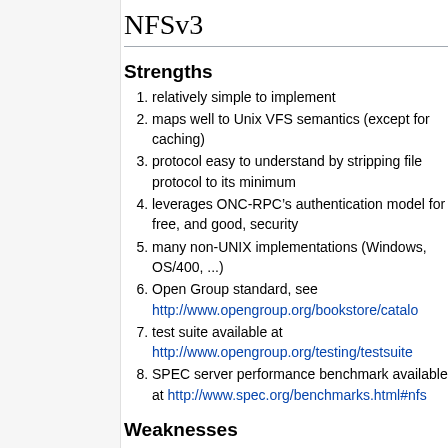NFSv3
Strengths
relatively simple to implement
maps well to Unix VFS semantics (except for caching)
protocol easy to understand by stripping file protocol to its minimum
leverages ONC-RPC’s authentication model for free, and good, security
many non-UNIX implementations (Windows, OS/400, ...)
Open Group standard, see http://www.opengroup.org/bookstore/catalog
test suite available at http://www.opengroup.org/testing/testsuites
SPEC server performance benchmark available at http://www.spec.org/benchmarks.html#nfs
Weaknesses
statelessness of core protocol causes